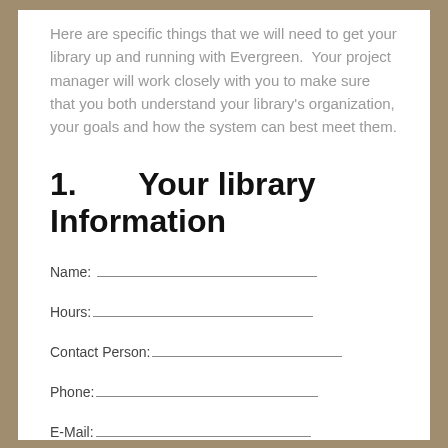Here are specific things that we will need to get your library up and running with Evergreen.  Your project manager will work closely with you to make sure that you both understand your library's organization, your goals and how the system can best meet them.
1.      Your library Information
Name: ___________________________________
Hours:___________________________________
Contact Person:____________________________
Phone:___________________________________
E-Mail: